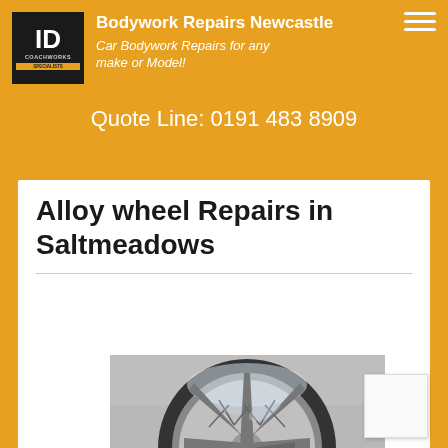Bodywork Repairs Newcastle — Car Bodywork Repairs for any make or Model!
Quote Line: 0191 483 8909
Alloy wheel Repairs in Saltmeadows
[Figure (photo): Alloy wheel being repaired, shown wrapped in protective film, photographed from the front in a workshop setting.]